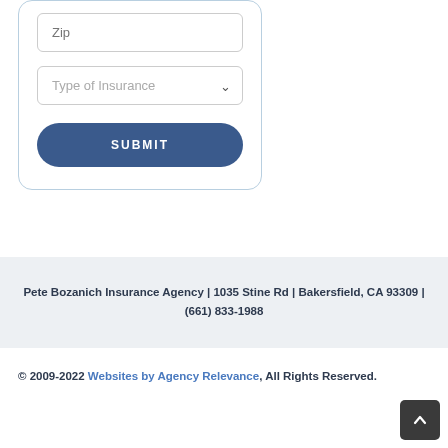[Figure (screenshot): Partial web form showing a Zip input field, a Type of Insurance dropdown selector, and a SUBMIT button, all inside a rounded-corner card border]
Pete Bozanich Insurance Agency | 1035 Stine Rd | Bakersfield, CA 93309 | (661) 833-1988
© 2009-2022 Websites by Agency Relevance, All Rights Reserved.